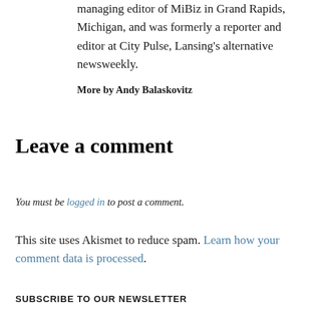managing editor of MiBiz in Grand Rapids, Michigan, and was formerly a reporter and editor at City Pulse, Lansing's alternative newsweekly.
More by Andy Balaskovitz
Leave a comment
You must be logged in to post a comment.
This site uses Akismet to reduce spam. Learn how your comment data is processed.
SUBSCRIBE TO OUR NEWSLETTER